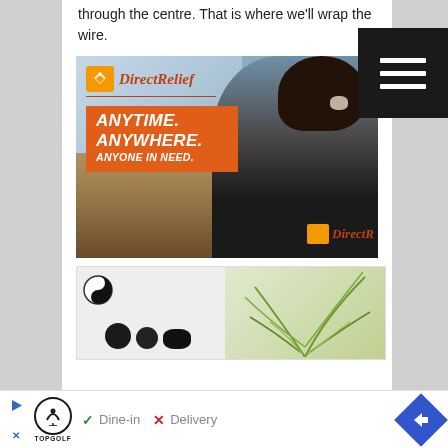through the centre. That is where we'll wrap the wire.
[Figure (photo): Direct Relief advertisement with person in black jacket looking at disaster rubble. Orange banner reads ANYTIME. ANYWHERE. ANYONE IN NEED. Direct Relief logo visible top-left and on jacket.]
[Figure (photo): Second advertisement showing a plant and black circular objects on a light background. Yin-yang logo in top left corner.]
[Figure (infographic): Bottom ad bar with Topgolf logo, checkmark Dine-in, X Delivery, and blue diamond navigation arrow. Play button icon and X close button visible.]